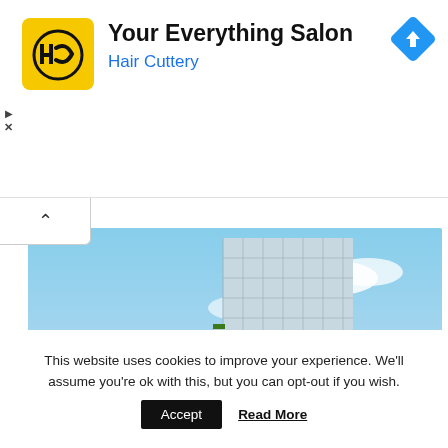[Figure (logo): Hair Cuttery HC logo in yellow square with advertisement text: 'Your Everything Salon' and 'Hair Cuttery', with blue navigation arrow icon and play/close controls]
[Figure (photo): Architectural rendering of a modern stepped glass tower building with green vegetation on terraces, street-level view with trees and road, cloudy blue sky]
This website uses cookies to improve your experience. We'll assume you're ok with this, but you can opt-out if you wish.
Accept   Read More